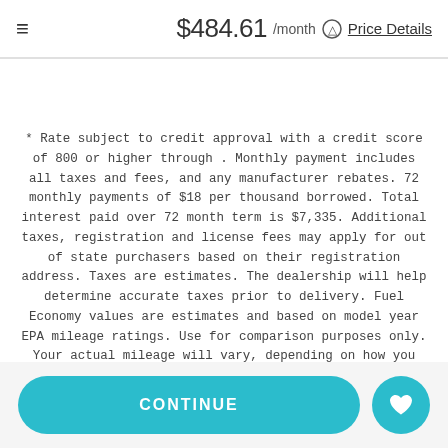≡   $484.61 /month ⊙ Price Details
* Rate subject to credit approval with a credit score of 800 or higher through . Monthly payment includes all taxes and fees, and any manufacturer rebates. 72 monthly payments of $18 per thousand borrowed. Total interest paid over 72 month term is $7,335. Additional taxes, registration and license fees may apply for out of state purchasers based on their registration address. Taxes are estimates. The dealership will help determine accurate taxes prior to delivery. Fuel Economy values are estimates and based on model year EPA mileage ratings. Use for comparison purposes only. Your actual mileage will vary, depending on how you drive and maintain your vehicle, driving conditions, battery pack age/condition (hybrid models only) and other factors. Click the price details link to view detailed pricing breakdown.
CONTINUE